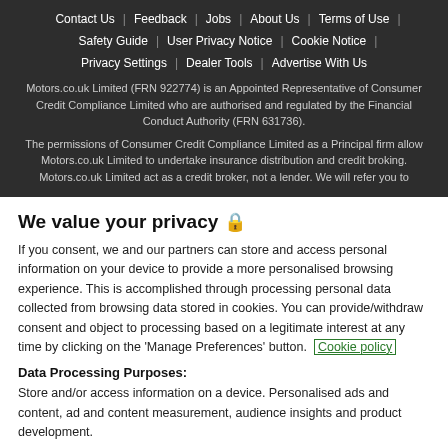Contact Us | Feedback | Jobs | About Us | Terms of Use
Safety Guide | User Privacy Notice | Cookie Notice
Privacy Settings | Dealer Tools | Advertise With Us
Motors.co.uk Limited (FRN 922774) is an Appointed Representative of Consumer Credit Compliance Limited who are authorised and regulated by the Financial Conduct Authority (FRN 631736).
The permissions of Consumer Credit Compliance Limited as a Principal firm allow Motors.co.uk Limited to undertake insurance distribution and credit broking. Motors.co.uk Limited act as a credit broker, not a lender. We will refer you to
We value your privacy 🔒
If you consent, we and our partners can store and access personal information on your device to provide a more personalised browsing experience. This is accomplished through processing personal data collected from browsing data stored in cookies. You can provide/withdraw consent and object to processing based on a legitimate interest at any time by clicking on the 'Manage Preferences' button. Cookie policy
Data Processing Purposes:
Store and/or access information on a device. Personalised ads and content, ad and content measurement, audience insights and product development.
List of Partners (vendors)